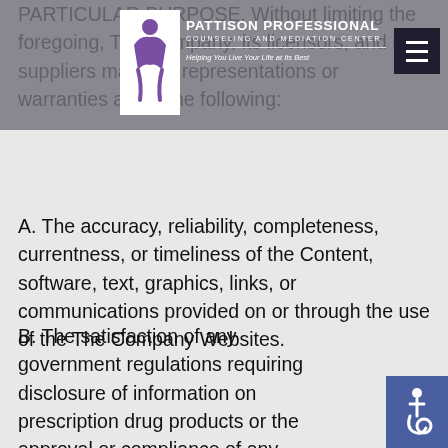Pattison Professional Counseling and Mediation Center — Helping You Live Your Life at Its Best
PARTICULAR PURPOSE. Without limiting the foregoing, The Company, its licensors, and its suppliers make no representations or warranties about the following:
A. The accuracy, reliability, completeness, currentness, or timeliness of the Content, software, text, graphics, links, or communications provided on or through the use of the The Company Websites.
B. The satisfaction of any government regulations requiring disclosure of information on prescription drug products or the approval or compliance of any software tools with regard to the Content contained on The Company websites. In no event shall The